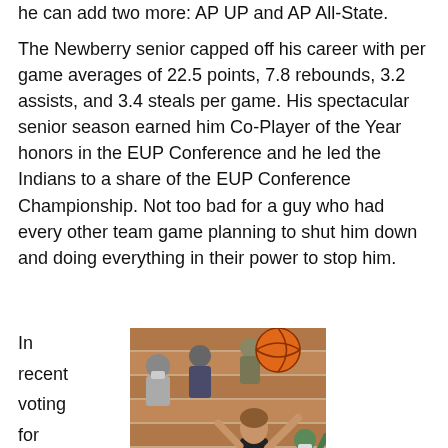he can add two more: AP UP and AP All-State.
The Newberry senior capped off his career with per game averages of 22.5 points, 7.8 rebounds, 3.2 assists, and 3.4 steals per game. His spectacular senior season earned him Co-Player of the Year honors in the EUP Conference and he led the Indians to a share of the EUP Conference Championship. Not too bad for a guy who had every other team game planning to shut him down and doing everything in their power to stop him.
[Figure (photo): Basketball player shooting a ball in a gym with bleachers and spectators in the background, some wearing masks]
In recent voting for the All UP